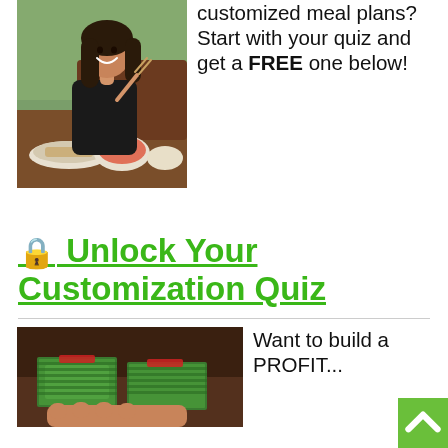[Figure (photo): Woman smiling, eating at a restaurant with food dishes on the table]
customized meal plans? Start with your quiz and get a FREE one below!
🔒 Unlock Your Customization Quiz
[Figure (photo): Stacks of US dollar bills on a table]
Want to build a PROFIT...